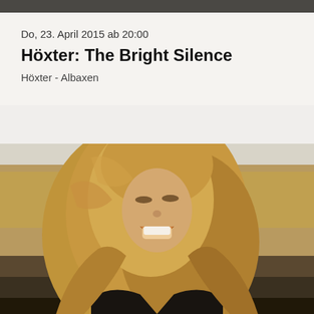[Figure (photo): Dark strip at top of page, partial view of another image above]
Do, 23. April 2015 ab 20:00
Höxter: The Bright Silence
Höxter - Albaxen
[Figure (photo): Portrait photo of a laughing blonde woman with long flowing hair, outdoors in a field with dried golden grasses in the background]